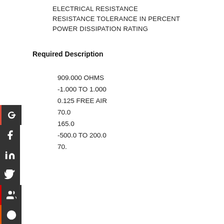ELECTRICAL RESISTANCE
RESISTANCE TOLERANCE IN PERCENT
POWER DISSIPATION RATING
Required Description
909.000 OHMS
-1.000 TO 1.000
0.125 FREE AIR
70.0
165.0
-500.0 TO 200.0
70.
[Figure (other): Social media icon buttons on the left side: Google+, Facebook, LinkedIn, Twitter, a people/group icon, StumbleUpon]